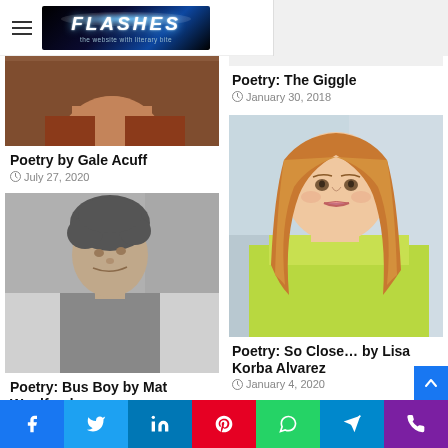FLASHES – the website with literary bite
[Figure (photo): Partial photo of Gale Acuff, person with reddish-brown shirt]
Poetry by Gale Acuff
July 27, 2020
Poetry: The Giggle
January 30, 2018
[Figure (photo): Black and white profile photo of man (Mat Woolfenden)]
Poetry: Bus Boy by Mat Woolfenden
May 26, 2021
[Figure (photo): Color photo of woman with long blonde/auburn hair wearing yellow-green top (Lisa Korba Alvarez)]
Poetry: So Close… by Lisa Korba Alvarez
January 4, 2020
Social share bar: Facebook, Twitter, LinkedIn, Pinterest, WhatsApp, Telegram, Phone